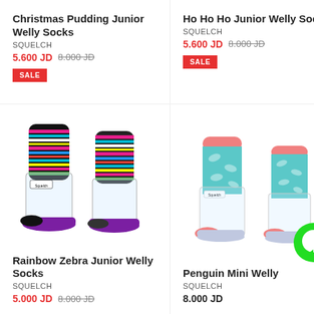Christmas Pudding Junior Welly Socks
SQUELCH
5.600 JD  8.000 JD
SALE
Ho Ho Ho Junior Welly Socks
SQUELCH
5.600 JD  8.000 JD
SALE
[Figure (photo): Rainbow Zebra Junior Welly Socks - colourful striped welly boots with clear rain boots]
[Figure (photo): Penguin Mini Welly - light blue welly boots with shark/fish pattern and orange toe]
Rainbow Zebra Junior Welly Socks
SQUELCH
5.000 JD  8.000 JD
Penguin Mini Welly
SQUELCH
8.000 JD